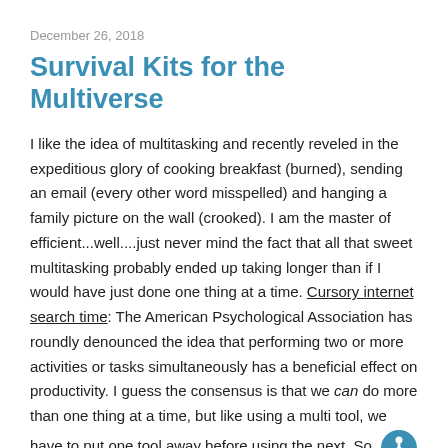December 26, 2018
Survival Kits for the Multiverse
I like the idea of multitasking and recently reveled in the expeditious glory of cooking breakfast (burned), sending an email (every other word misspelled) and hanging a family picture on the wall (crooked). I am the master of efficient...well....just never mind the fact that all that sweet multitasking probably ended up taking longer than if I would have just done one thing at a time. Cursory internet search time: The American Psychological Association has roundly denounced the idea that performing two or more activities or tasks simultaneously has a beneficial effect on productivity. I guess the consensus is that we can do more than one thing at a time, but like using a multi tool, we have to put one tool away before using the next. So instead of truly performing multiple tasks at once, like